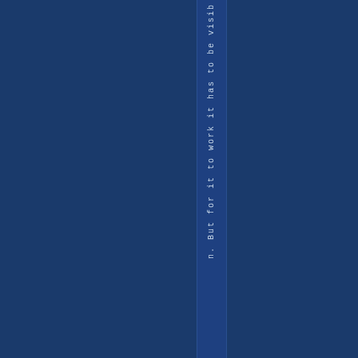[Figure (other): Dark navy blue background page with a vertical strip/column in the center-right area containing rotated text reading 'n. But for it to work it has to be visib' displayed character by character vertically from top to bottom.]